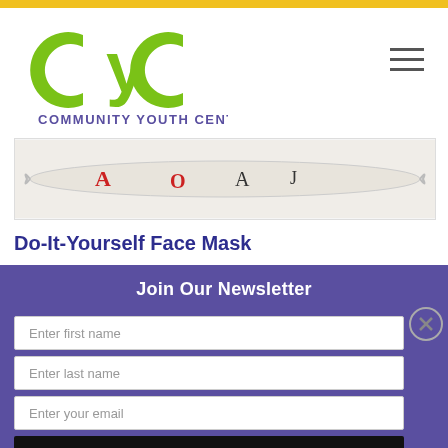[Figure (logo): CYC Community Youth Center logo — large green CYC letters above purple text reading Community Youth Center]
[Figure (photo): A face mask laid flat showing a patterned fabric with letters A, O, J visible and illustrated figures]
Do-It-Yourself Face Mask
Join Our Newsletter
Enter first name
Enter last name
Enter your email
Subscribe